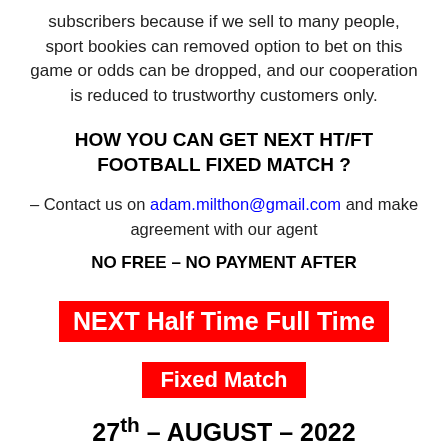subscribers because if we sell to many people, sport bookies can removed option to bet on this game or odds can be dropped, and our cooperation is reduced to trustworthy customers only.
HOW YOU CAN GET NEXT HT/FT FOOTBALL FIXED MATCH ?
– Contact us on adam.milthon@gmail.com and make agreement with our agent
NO FREE – NO PAYMENT AFTER
NEXT Half Time Full Time
Fixed Match
27th – AUGUST – 2022
SATURDAY